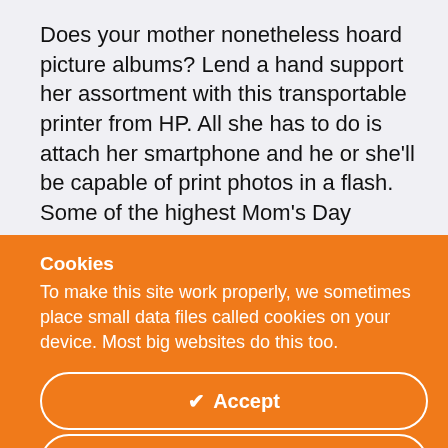Does your mother nonetheless hoard picture albums? Lend a hand support her assortment with this transportable printer from HP. All she has to do is attach her smartphone and he or she'll be capable of print photos in a flash. Some of the highest Mom's Day
Cookies
To make this site work properly, we sometimes place small data files called cookies on your device. Most big websites do this too.
✔ Accept
Change Settings ⚙